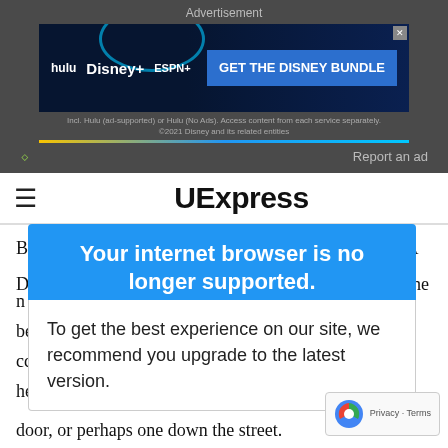[Figure (screenshot): Advertisement banner for Disney Bundle (Hulu, Disney+, ESPN+)]
Advertisement
Report an ad
UExpress
Browning, poet and feminist. -- ALISON IN FLORIDA
DEAR ALISON: My column titled "Winning Against the
Your internet browser is no longer supported.
To get the best experience on our site, we recommend you upgrade to the latest version.
n for another:
be Lincoln or
cceeded
he famil
door, or perhaps one down the street.